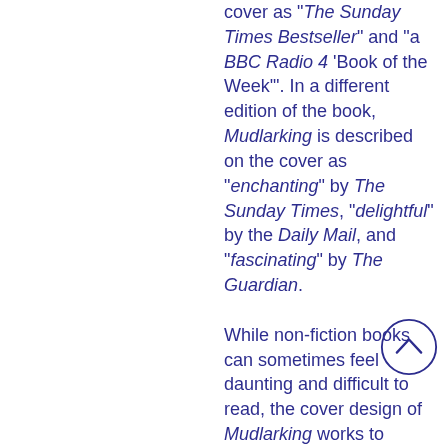cover as "The Sunday Times Bestseller" and "a BBC Radio 4 'Book of the Week'". In a different edition of the book, Mudlarking is described on the cover as "enchanting" by The Sunday Times, "delightful" by the Daily Mail, and "fascinating" by The Guardian.

While non-fiction books can sometimes feel daunting and difficult to read, the cover design of Mudlarking works to position the book as accessible to a broader audience by associating it with the very familiar and mainstream media sources, such as the BBC and The Guardian. In addition, by highlighting Mudlarking's bestseller